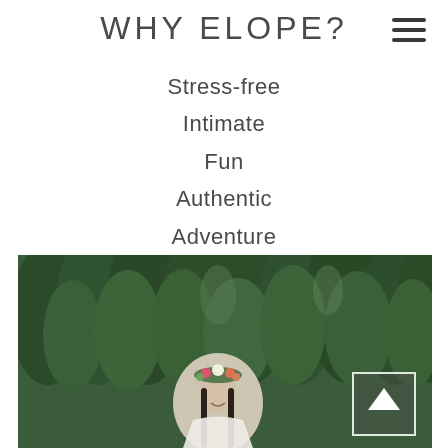WHY ELOPE?
Stress-free
Intimate
Fun
Authentic
Adventure
[Figure (photo): Bride wearing a floral crown smiling outdoors with green forest trees in the background]